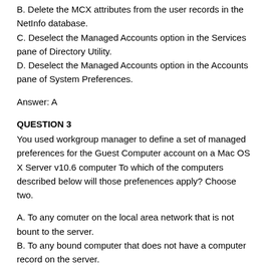B. Delete the MCX attributes from the user records in the NetInfo database.
C. Deselect the Managed Accounts option in the Services pane of Directory Utility.
D. Deselect the Managed Accounts option in the Accounts pane of System Preferences.
Answer: A
QUESTION 3
You used workgroup manager to define a set of managed preferences for the Guest Computer account on a Mac OS X Server v10.6 computer To which of the computers described below will those prefenences apply? Choose two.
A. To any comuter on the local area network that is not bount to the server.
B. To any bound computer that does not have a computer record on the server.
C. To any bound computer from which a user connects to